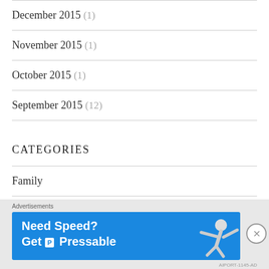December 2015 (1)
November 2015 (1)
October 2015 (1)
September 2015 (12)
CATEGORIES
Family
Healthy Lifestyle
[Figure (screenshot): Advertisement banner: 'Need Speed? Get Pressable' with a person flying on blue background]
Advertisements